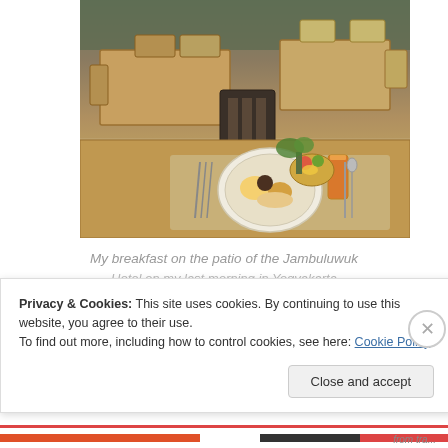[Figure (photo): Outdoor patio restaurant with wooden furniture and dining tables set for breakfast. In the foreground, a plate of food with eggs and pastries, a glass of orange juice, and cutlery on a woven placemat.]
My breakfast on the patio of the Jambuluwuk Hotel on my last morning in Yogyakarta
Privacy & Cookies: This site uses cookies. By continuing to use this website, you agree to their use. To find out more, including how to control cookies, see here: Cookie Policy
Close and accept